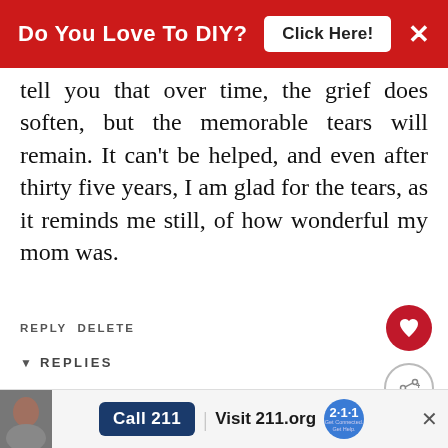Do You Love To DIY? Click Here! ×
tell you that over time, the grief does soften, but the memorable tears will remain. It can't be helped, and even after thirty five years, I am glad for the tears, as it reminds me still, of how wonderful my mom was.
REPLY DELETE
▼ REPLIES
Kim
OCTOBER 24, 2018 AT 8:40
WHAT'S NEXT → A Sentimental Treasure...
Cheryl, I am trying to keep
Call 211 | Visit 211.org 2·1·1